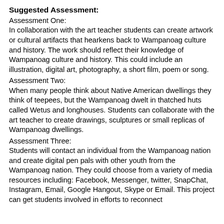Suggested Assessment:
Assessment One:
In collaboration with the art teacher students can create artwork or cultural artifacts that hearkens back to Wampanoag culture and history. The work should reflect their knowledge of Wampanoag culture and history. This could include an illustration, digital art, photography, a short film, poem or song.
Assessment Two:
When many people think about Native American dwellings they think of teepees, but the Wampanoag dwelt in thatched huts called Wetus and longhouses. Students can collaborate with the art teacher to create drawings, sculptures or small replicas of Wampanoag dwellings.
Assessment Three:
Students will contact an individual from the Wampanoag nation and create digital pen pals with other youth from the Wampanoag nation. They could choose from a variety of media resources including: Facebook, Messenger, twitter, SnapChat, Instagram, Email, Google Hangout, Skype or Email. This project can get students involved in efforts to reconnect...